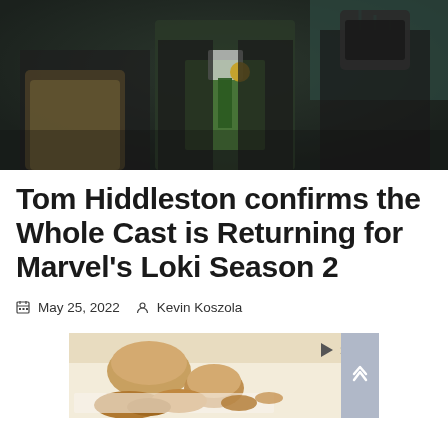[Figure (photo): Scene from Marvel's Loki showing characters in period costumes. Center figure wears a green vest and coat with a badge/medallion, flanked by two other characters. Dark, moody lighting.]
Tom Hiddleston confirms the Whole Cast is Returning for Marvel's Loki Season 2
May 25, 2022   Kevin Koszola
[Figure (photo): Advertisement showing food items including buns/rolls and what appears to be fried chicken on a tray with paper lining.]